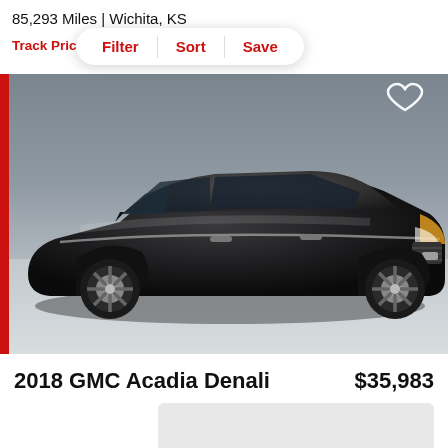85,293 Miles | Wichita, KS
Track Price
Filter | Sort | Save
[Figure (photo): Black 2018 GMC Acadia Denali SUV photographed from a front-side angle in a parking lot against a grey background]
2018 GMC Acadia Denali    $35,983